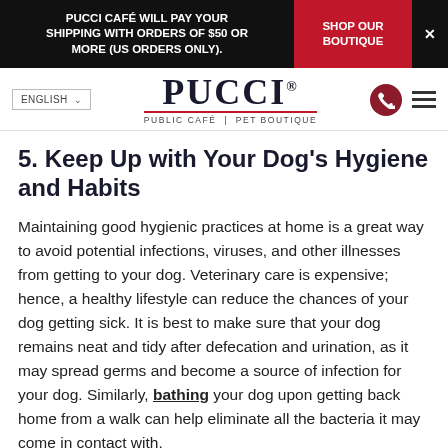PUCCI CAFÉ WILL PAY YOUR SHIPPING WITH ORDERS OF $50 OR MORE (US ORDERS ONLY). | SHOP OUR BOUTIQUE | ×
PUCCI® PUBLIC CAFÉ | PET BOUTIQUE | ENGLISH
5. Keep Up with Your Dog's Hygiene and Habits
Maintaining good hygienic practices at home is a great way to avoid potential infections, viruses, and other illnesses from getting to your dog. Veterinary care is expensive; hence, a healthy lifestyle can reduce the chances of your dog getting sick. It is best to make sure that your dog remains neat and tidy after defecation and urination, as it may spread germs and become a source of infection for your dog. Similarly, bathing your dog upon getting back home from a walk can help eliminate all the bacteria it may come in contact with.